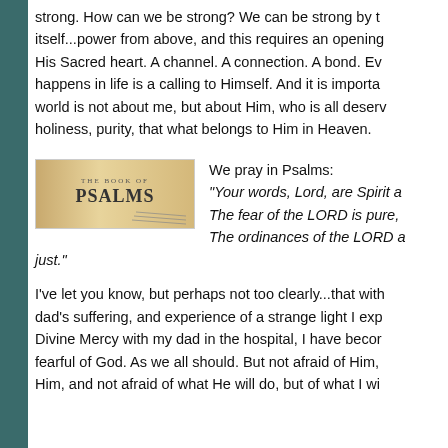strong. How can we be strong? We can be strong by t... itself...power from above, and this requires an opening... His Sacred heart. A channel. A connection. A bond. Ev... happens in life is a calling to Himself. And it is importa... world is not about me, but about Him, who is all deserv... holiness, purity, that what belongs to Him in Heaven.
[Figure (photo): Image of a book of Psalms open, with the title 'THE BOOK OF PSALMS' visible on the page.]
We pray in Psalms:
"Your words, Lord, are Spirit a...
The fear of the LORD is pure,
The ordinances of the LORD a...
just."
I've let you know, but perhaps not too clearly...that with... dad's suffering, and experience of a strange light I exp... Divine Mercy with my dad in the hospital, I have becor... fearful of God. As we all should. But not afraid of Him,... Him, and not afraid of what He will do, but of what I wi...